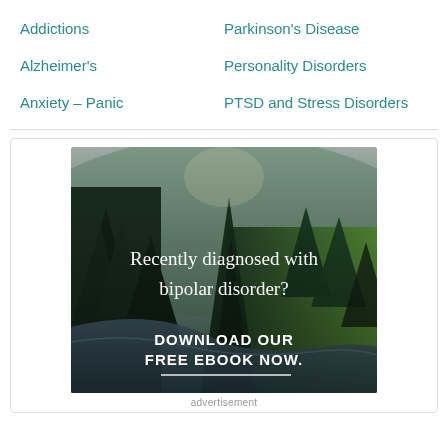Addictions
Parkinson's Disease
Alzheimer's
Personality Disorders
Anxiety – Panic
PTSD and Stress Disorders
[Figure (photo): Forest/nature scene with river and pine trees, overlaid with text: 'Recently diagnosed with bipolar disorder?' and 'DOWNLOAD OUR FREE EBOOK NOW.' with a white underline.]
advertisement